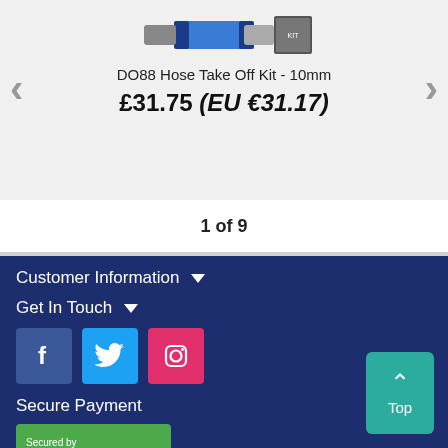[Figure (photo): Product image area for DO88 Hose Take Off Kit with navigation arrows on left and right]
DO88 Hose Take Off Kit - 10mm
£31.75 (EU €31.17)
1 of 9
Customer Information
Get In Touch
[Figure (logo): Facebook, Twitter, Instagram social media icons]
Secure Payment
[Figure (logo): Sage Pay secured payment badge]
Top button with up arrow